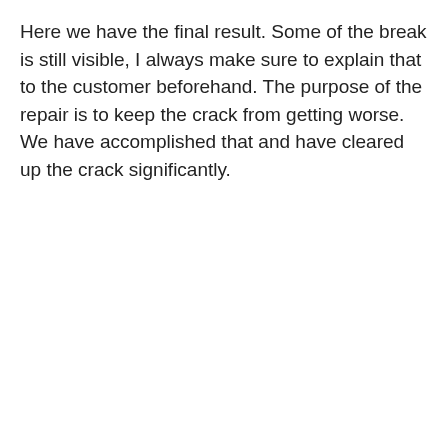Here we have the final result. Some of the break is still visible, I always make sure to explain that to the customer beforehand. The purpose of the repair is to keep the crack from getting worse. We have accomplished that and have cleared up the crack significantly.